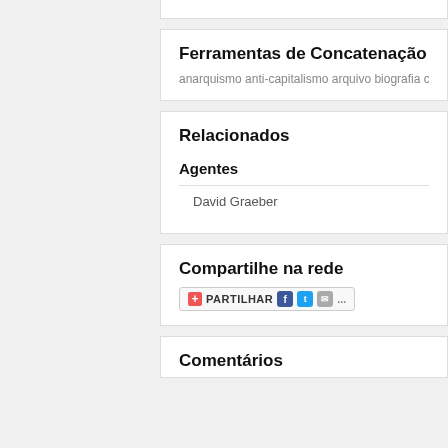Ferramentas de Concatenação
anarquismo anti-capitalismo arquivo biografia conhe...
Relacionados
Agentes
David Graeber
Compartilhe na rede
[Figure (other): Share buttons: PARTILHAR with Facebook, Twitter, and email icons]
Comentários